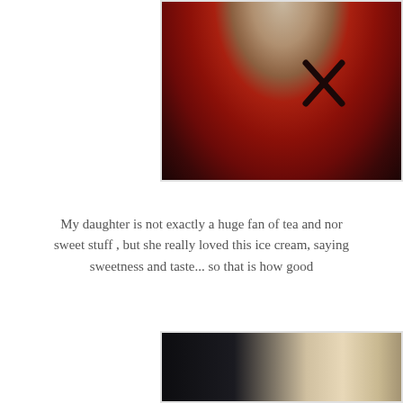[Figure (photo): Close-up photo of a person wearing a red t-shirt with an X mark on the chest, dark background, neck visible at top]
My daughter is not exactly a huge fan of tea and nor sweet stuff , but she really loved this ice cream, saying sweetness and taste... so that is how good
[Figure (photo): Partial photo, dark background with light-colored subject, bottom portion of page]